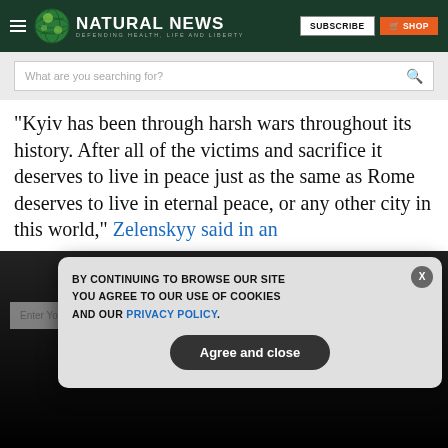Natural News — Defending Health, Life and Liberty
What are you searching for?
“Kyiv has been through harsh wars throughout its history. After all of the victims and sacrifice it deserves to live in peace just as the same as Rome deserves to live in eternal peace, or any other city in this world,” Zelenskyy said in an
GET THE WORLD'S BEST NATURAL HEALTH NEWSLETTER DELIVERED STRAIGHT TO YOUR INBOX
BY CONTINUING TO BROWSE OUR SITE YOU AGREE TO OUR USE OF COOKIES AND OUR PRIVACY POLICY.
Agree and close